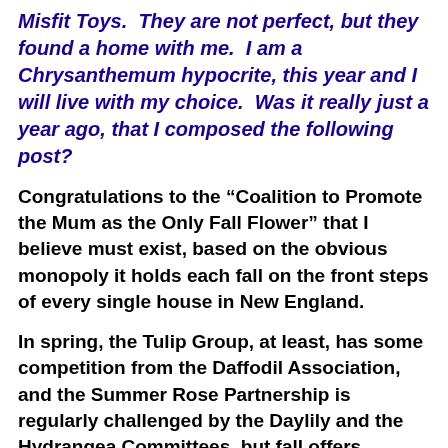Misfit Toys. They are not perfect, but they found a home with me. I am a Chrysanthemum hypocrite, this year and I will live with my choice. Was it really just a year ago, that I composed the following post?
Congratulations to the “Coalition to Promote the Mum as the Only Fall Flower” that I believe must exist, based on the obvious monopoly it holds each fall on the front steps of every single house in New England.
In spring, the Tulip Group, at least, has some competition from the Daffodil Association, and the Summer Rose Partnership is regularly challenged by the Daylily and the Hydrangea Committees, but fall offers nothing but Mums.
How did this come to be? In my mind the first brilliant marketing move was changing the